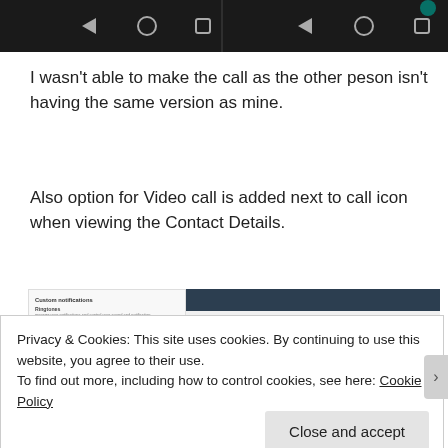[Figure (screenshot): Two Android phone navigation bars (back, home, recents icons) on black background, side by side]
I wasn't able to make the call as the other peson isn't having the same version as mine.
Also option for Video call is added next to call icon when viewing the Contact Details.
[Figure (screenshot): Screenshot showing notification settings on the left and contact detail icons (message, call, video, info) on teal/dark header on the right]
Privacy & Cookies: This site uses cookies. By continuing to use this website, you agree to their use.
To find out more, including how to control cookies, see here: Cookie Policy
Close and accept